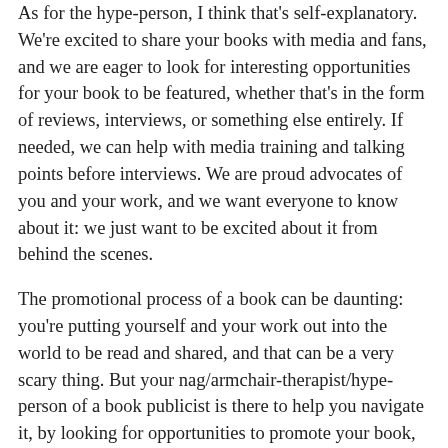As for the hype-person, I think that's self-explanatory. We're excited to share your books with media and fans, and we are eager to look for interesting opportunities for your book to be featured, whether that's in the form of reviews, interviews, or something else entirely. If needed, we can help with media training and talking points before interviews. We are proud advocates of you and your work, and we want everyone to know about it: we just want to be excited about it from behind the scenes.
The promotional process of a book can be daunting: you're putting yourself and your work out into the world to be read and shared, and that can be a very scary thing. But your nag/armchair-therapist/hype-person of a book publicist is there to help you navigate it, by looking for opportunities to promote your book, by keeping the lines of communication open to ensure that you are both comfortable with the promotional process, and by acting as your book's biggest and loudest cheerleader.